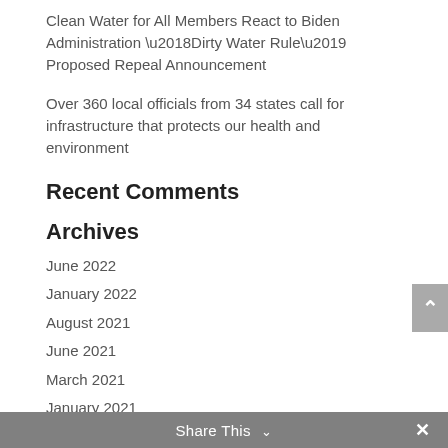Clean Water for All Members React to Biden Administration ‘Dirty Water Rule’ Proposed Repeal Announcement
Over 360 local officials from 34 states call for infrastructure that protects our health and environment
Recent Comments
Archives
June 2022
January 2022
August 2021
June 2021
March 2021
January 2021
Share This ∨  ×